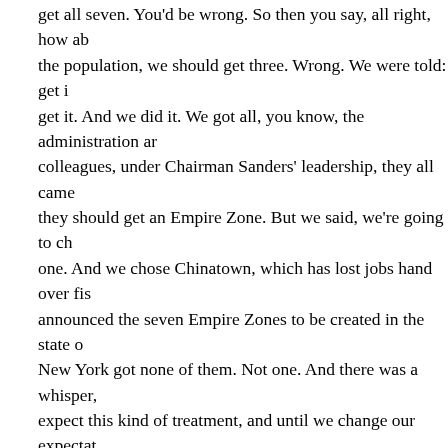get all seven. You'd be wrong. So then you say, all right, how ab the population, we should get three. Wrong. We were told: get i get it. And we did it. We got all, you know, the administration ar colleagues, under Chairman Sanders' leadership, they all came they should get an Empire Zone. But we said, we're going to ch one. And we chose Chinatown, which has lost jobs hand over fis announced the seven Empire Zones to be created in the state c New York got none of them. Not one. And there was a whisper, expect this kind of treatment, and until we change our expectat
I'll give you what is even a more dramatic example, and that's th since September 11th. When the President promised $20 billion my goodness. And in the context of the sort of relationship that good--$20 billion. Now, we've only gotten $5 billion of it, and we all this, which is how the argument's going now. But what other billion economic disaster that came, essentially, it was the fede city in the country, when the President comes to town, and says in this together. You have a $120 billion economic disaster, we'l billion," would say "that's great, thank you."? Not one. Not one. S